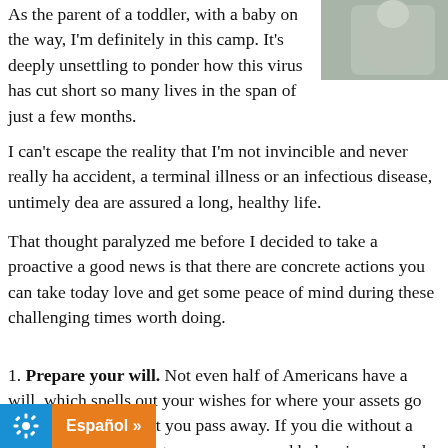As the parent of a toddler, with a baby on the way, I'm definitely in this camp. It's deeply unsettling to ponder how this virus has cut short so many lives in the span of just a few months.
[Figure (photo): Photo of a pregnant person in a grey top, outdoors]
I can't escape the reality that I'm not invincible and never really ha... accident, a terminal illness or an infectious disease, untimely dea... are assured a long, healthy life.
That thought paralyzed me before I decided to take a proactive a... good news is that there are concrete actions you can take today... love and get some peace of mind during these challenging times... worth doing.
1. Prepare your will. Not even half of Americans have a will, which... spells out your wishes for where your assets go and who cares f... event you pass away. If you die without a will, your individual sta... your money and belongings go and who takes care of your kids.... dying without a will generally delays the process of resolving your... additional taxes.
ones from this experience with a will. Many pe...